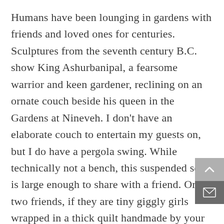Humans have been lounging in gardens with friends and loved ones for centuries. Sculptures from the seventh century B.C. show King Ashurbanipal, a fearsome warrior and keen gardener, reclining on an ornate couch beside his queen in the Gardens at Nineveh. I don't have an elaborate couch to entertain my guests on, but I do have a pergola swing. While technically not a bench, this suspended seat is large enough to share with a friend. Or two friends, if they are tiny giggly girls wrapped in a thick quilt handmade by your mother — but that's the nostalgic me digressing to a much earlier time. The girls are grown and have long moved out, but the swing still beckons visitors to sit a spell, to chat, even to giggle. I offer red wine on mild autumn afternoons or chilled prosecco on steamier days, often served with a snack like